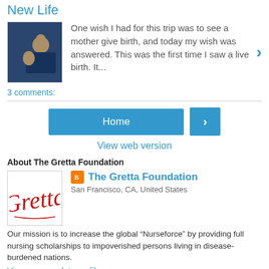New Life
[Figure (photo): A photo thumbnail showing a woman giving birth, dark/blue toned image]
One wish I had for this trip was to see a mother give birth, and today my wish was answered. This was the first time I saw a live birth. It...
3 comments:
Home
View web version
About The Gretta Foundation
[Figure (logo): The Gretta Foundation logo with red cursive 'Gretta' signature on white background]
The Gretta Foundation
San Francisco, CA, United States
Our mission is to increase the global “Nurseforce” by providing full nursing scholarships to impoverished persons living in disease-burdened nations.
View my complete profile
Powered by Blogger.